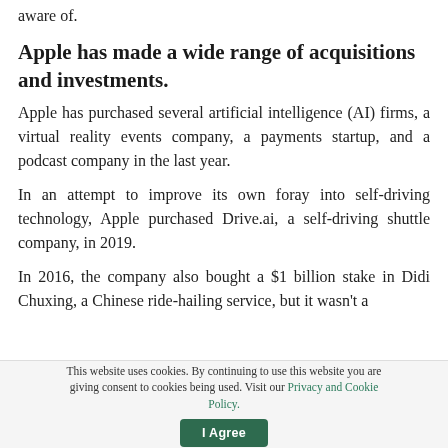aware of.
Apple has made a wide range of acquisitions and investments.
Apple has purchased several artificial intelligence (AI) firms, a virtual reality events company, a payments startup, and a podcast company in the last year.
In an attempt to improve its own foray into self-driving technology, Apple purchased Drive.ai, a self-driving shuttle company, in 2019.
In 2016, the company also bought a $1 billion stake in Didi Chuxing, a Chinese ride-hailing service, but it wasn't a
This website uses cookies. By continuing to use this website you are giving consent to cookies being used. Visit our Privacy and Cookie Policy.